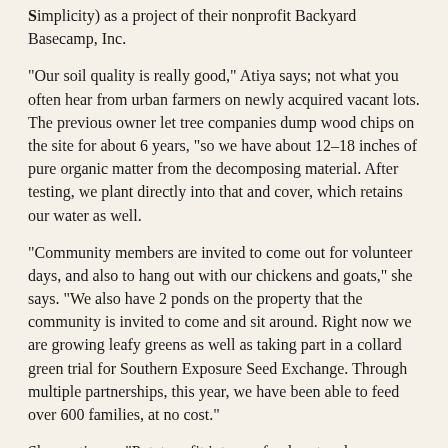Simplicity) as a project of their nonprofit Backyard Basecamp, Inc.
"Our soil quality is really good," Atiya says; not what you often hear from urban farmers on newly acquired vacant lots. The previous owner let tree companies dump wood chips on the site for about 6 years, "so we have about 12–18 inches of pure organic matter from the decomposing material. After testing, we plant directly into that and cover, which retains our water as well.
"Community members are invited to come out for volunteer days, and also to hang out with our chickens and goats," she says. "We also have 2 ponds on the property that the community is invited to come and sit around. Right now we are growing leafy greens as well as taking part in a collard green trial for Southern Exposure Seed Exchange. Through multiple partnerships, this year, we have been able to feed over 600 families, at no cost."
She continues, "Potatoes fit into our food system because they provide substance to a meal. Our farm manager is passionate about root crops."
Jordan Bethea, farm manager, understands what it takes to feed people in areas where accessing healthy food is a challenge. Reflecting on growing food during the pandemic, he says, "Potatoes for me are a core to a healthy food system. As we well know, food systems across the